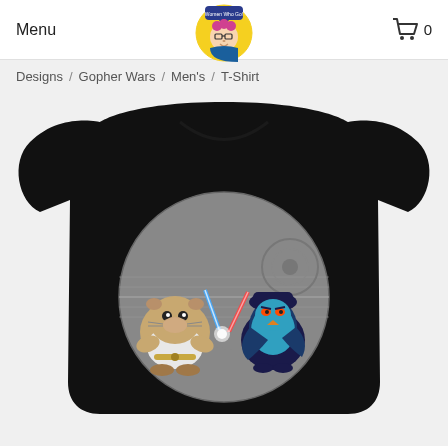Menu
Designs / Gopher Wars / Men's / T-Shirt
[Figure (photo): Black t-shirt featuring a 'Gopher Wars' design — two cartoon gopher characters in Star Wars costumes fighting with lightsabers in front of a Death Star, one gopher in white Jedi robes with a blue lightsaber and one in a dark Darth Vader costume with a red lightsaber.]